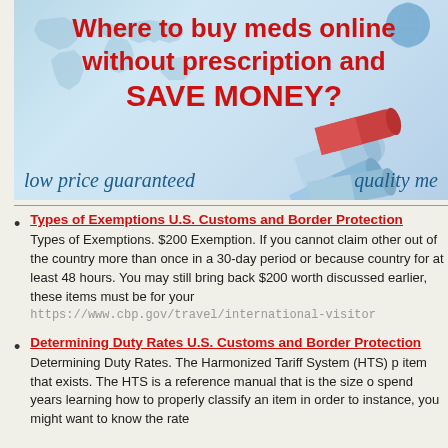[Figure (infographic): Online pharmacy advertisement banner. Red bold text reads 'Where to buy meds online without prescription and SAVE MONEY?' on a light blue background with world map silhouette and pills image. Bottom text: 'low price guaranteed' and 'quality me[ds]' in blue italic serif font.]
Types of Exemptions U.S. Customs and Border Protection
Types of Exemptions. $200 Exemption. If you cannot claim other out of the country more than once in a 30-day period or because country for at least 48 hours. You may still bring back $200 worth discussed earlier, these items must be for your
https://www.cbp.gov/travel/international-visitor
Determining Duty Rates U.S. Customs and Border Protection
Determining Duty Rates. The Harmonized Tariff System (HTS) p item that exists. The HTS is a reference manual that is the size o spend years learning how to properly classify an item in order to instance, you might want to know the rate